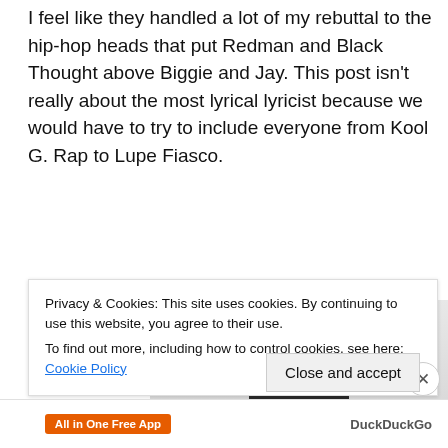I feel like they handled a lot of my rebuttal to the hip-hop heads that put Redman and Black Thought above Biggie and Jay. This post isn't really about the most lyrical lyricist because we would have to try to include everyone from Kool G. Rap to Lupe Fiasco.
[Figure (photo): A young Black man wearing glasses and a dark hoodie with pink graphic design, photographed indoors against a light background. Part of another person is visible on the right edge.]
Privacy & Cookies: This site uses cookies. By continuing to use this website, you agree to their use.
To find out more, including how to control cookies, see here: Cookie Policy
Close and accept
All in One Free App   DuckDuckGo